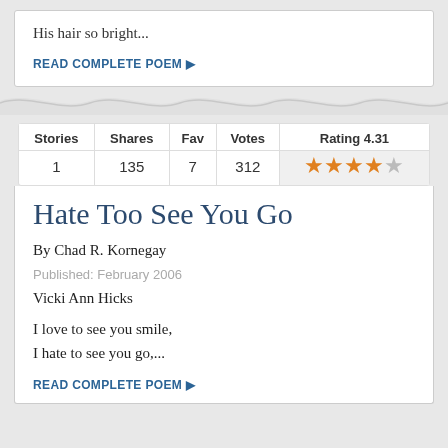His hair so bright...
READ COMPLETE POEM ▶
| Stories | Shares | Fav | Votes | Rating 4.31 |
| --- | --- | --- | --- | --- |
| 1 | 135 | 7 | 312 | ★★★★☆ |
Hate Too See You Go
By Chad R. Kornegay
Published: February 2006
Vicki Ann Hicks
I love to see you smile,
I hate to see you go,...
READ COMPLETE POEM ▶